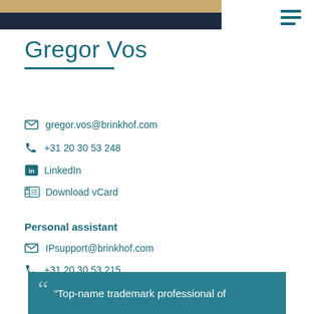[Figure (photo): Partial photo of a man in a dark suit with a tan/gold background at top, cropped at bottom of photo bar area.]
Gregor Vos
gregor.vos@brinkhof.com
+31 20 30 53 248
LinkedIn
Download vCard
Personal assistant
IPsupport@brinkhof.com
+31 20 30 53 215
“Top-name trademark professional of